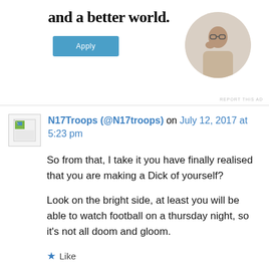[Figure (illustration): Advertisement section showing bold text 'and a better world.' with a blue 'Apply' button and a circular photo of a man thinking at a desk]
REPORT THIS AD
N17Troops (@N17troops) on July 12, 2017 at 5:23 pm
So from that, I take it you have finally realised that you are making a Dick of yourself?
Look on the bright side, at least you will be able to watch football on a thursday night, so it's not all doom and gloom.
Like